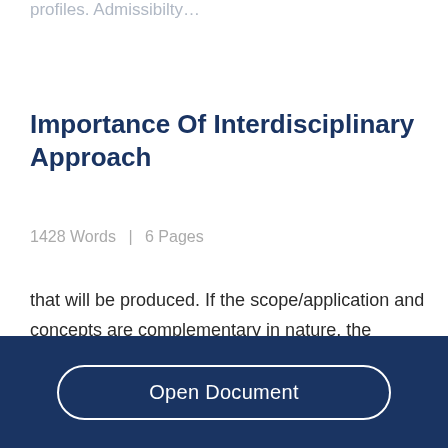profiles. Admissibilty…
Importance Of Interdisciplinary Approach
1428 Words  | 6 Pages
that will be produced. If the scope/application and concepts are complementary in nature, the knowledge produced is not confusing. Biomimicry
Open Document